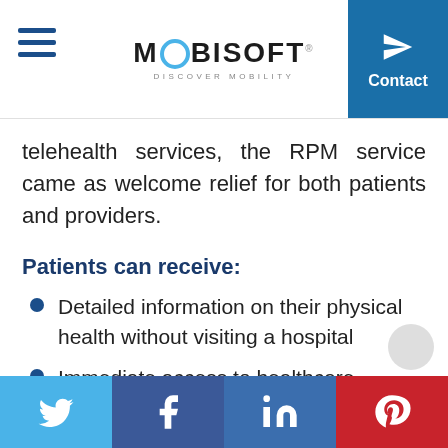MOBISOFT — DISCOVER MOBILITY | Contact
telehealth services, the RPM service came as welcome relief for both patients and providers.
Patients can receive:
Detailed information on their physical health without visiting a hospital
Immediate access to healthcare
Providers and professionals can benefit from:
Twitter | Facebook | LinkedIn | Pinterest